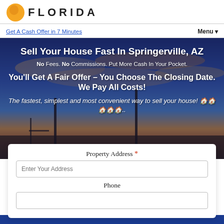[Figure (logo): Orange circular logo with Florida company branding and text FLORIDA in large spaced letters]
Get A Cash Offer in 7 Minutes
Menu ▾
[Figure (photo): Background photo of a desert landscape at dusk with dramatic blue and orange sky, with tall cactus silhouettes and utility poles]
Sell Your House Fast In Springerville, AZ
No Fees. No Commissions. Put More Cash In Your Pocket.
You'll Get A Fair Offer – You Choose The Closing Date. We Pay All Costs!
The fastest, simplest and most convenient way to sell your house! 🏠🏠🏠🏠🏠..
Property Address *
Enter Your Address
Phone